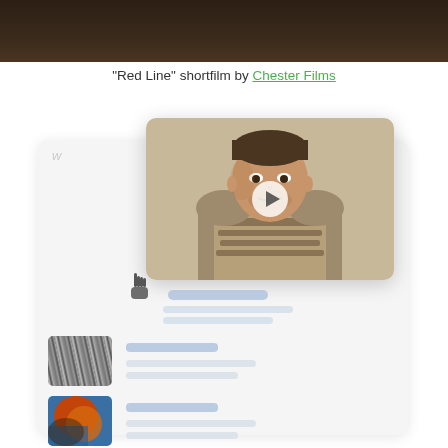[Figure (photo): Dark brown top banner, partial view of a scene]
"Red Line" shortfilm by Chester Films
[Figure (screenshot): UI mockup of a video platform showing a video player with a man wearing tactical gear, a play button overlay, cursor icon, and two list items below with thumbnail images and placeholder text lines]